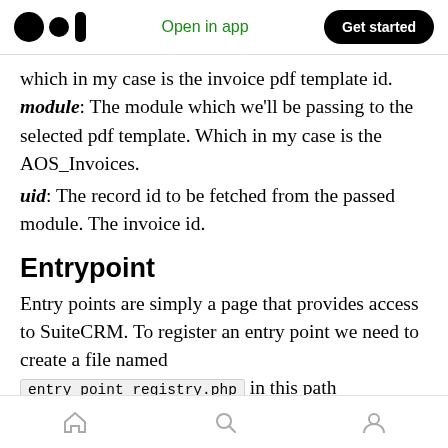Open in app | Get started
which in my case is the invoice pdf template id. module: The module which we'll be passing to the selected pdf template. Which in my case is the AOS_Invoices.
uid: The record id to be fetched from the passed module. The invoice id.
Entrypoint
Entry points are simply a page that provides access to SuiteCRM. To register an entry point we need to create a file named entry_point_registry.php in this path
Home | Search | Profile